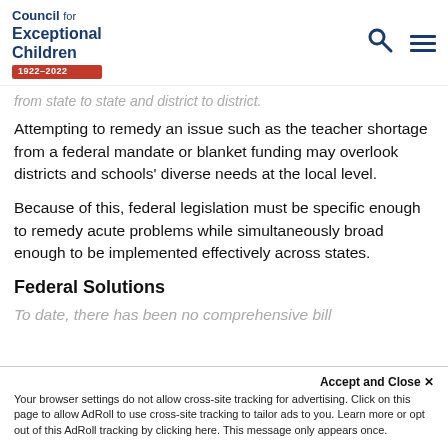Council for Exceptional Children 1922-2022
from state to state and district to district.
Attempting to remedy an issue such as the teacher shortage from a federal mandate or blanket funding may overlook districts and schools' diverse needs at the local level.
Because of this, federal legislation must be specific enough to remedy acute problems while simultaneously broad enough to be implemented effectively across states.
Federal Solutions
To date, there has been no comprehensive bill
Accept and Close ×
Your browser settings do not allow cross-site tracking for advertising. Click on this page to allow AdRoll to use cross-site tracking to tailor ads to you. Learn more or opt out of this AdRoll tracking by clicking here. This message only appears once.